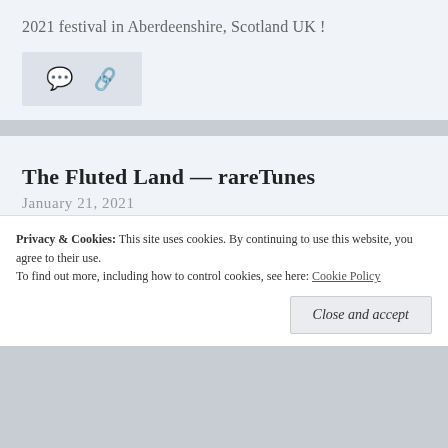2021 festival in Aberdeenshire, Scotland UK!
[Figure (illustration): Icon bar with comment bubble and share icons on light gray background]
The Fluted Land — rareTunes
January 21, 2021
A very short film to music played by Eddie McGuire. The Fluted Land — rareTunes
Privacy & Cookies: This site uses cookies. By continuing to use this website, you agree to their use. To find out more, including how to control cookies, see here: Cookie Policy
Close and accept